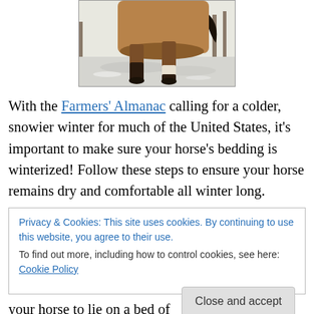[Figure (photo): Photograph of a horse's legs standing in snow, showing brown body, dark lower legs, and one white sock, with a fence visible in the background.]
With the Farmers' Almanac calling for a colder, snowier winter for much of the United States, it's important to make sure your horse's bedding is winterized! Follow these steps to ensure your horse remains dry and comfortable all winter long.
Privacy & Cookies: This site uses cookies. By continuing to use this website, you agree to their use.
To find out more, including how to control cookies, see here: Cookie Policy
Close and accept
your horse to lie on a bed of “manure cubes.”